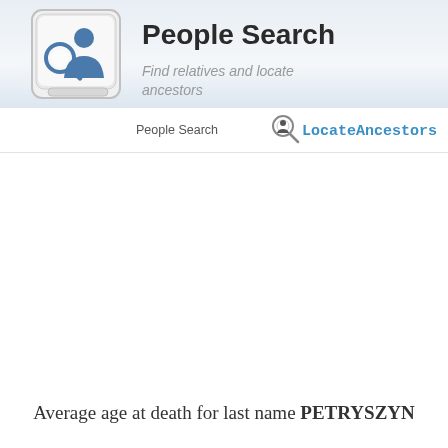[Figure (logo): Keyboard key icon with a magnifying glass and person silhouette (people search icon)]
People Search
Find relatives and locate ancestors
People Search
[Figure (logo): Magnifying glass logo icon followed by LocateAncestors.com text in blue monospace font]
Average age at death for last name PETRYSZYN